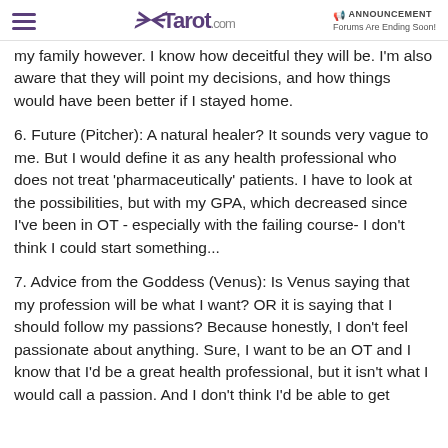Tarot.com | ANNOUNCEMENT Forums Are Ending Soon!
my family however. I know how deceitful they will be. I'm also aware that they will point my decisions, and how things would have been better if I stayed home.
6. Future (Pitcher): A natural healer? It sounds very vague to me. But I would define it as any health professional who does not treat 'pharmaceutically' patients. I have to look at the possibilities, but with my GPA, which decreased since I've been in OT - especially with the failing course- I don't think I could start something...
7. Advice from the Goddess (Venus): Is Venus saying that my profession will be what I want? OR it is saying that I should follow my passions? Because honestly, I don't feel passionate about anything. Sure, I want to be an OT and I know that I'd be a great health professional, but it isn't what I would call a passion. And I don't think I'd be able to get